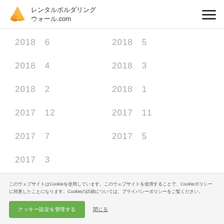レンタルボルダリングウォール.com
2018  6
2018  5
2018  4
2018  3
2018  2
2018  1
2017  12
2017  11
2017  7
2017  5
2017  3
このウェブサイトはCookieを使用しています。このウェブサイトを使用することで、Cookieポリシーに同意したことになります。Cookieの詳細については、プライバシーポリシーをご覧ください。
クッキー設定を管理する | 閉じる